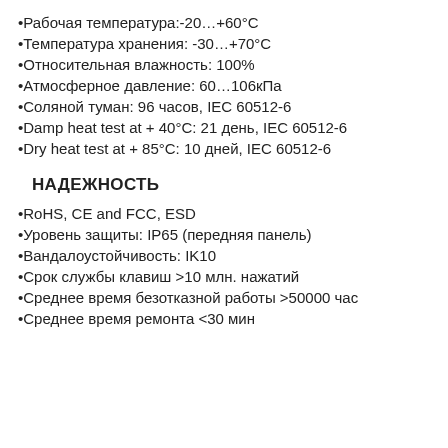Рабочая температура:-20…+60°С
Температура хранения: -30…+70°С
Относительная влажность: 100%
Атмосферное давление: 60…106кПа
Соляной туман: 96 часов, IEC 60512-6
Damp heat test at + 40°С: 21 день, IEC 60512-6
Dry heat test at + 85°С: 10 дней, IEC 60512-6
НАДЕЖНОСТЬ
RoHS, CE and FCC, ESD
Уровень защиты: IP65 (передняя панель)
Вандалоустойчивость: IK10
Срок службы клавиш >10 млн. нажатий
Среднее время безотказной работы >50000 час
Среднее время ремонта <30 мин